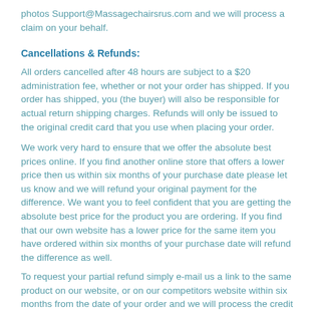photos Support@Massagechairsrus.com and we will process a claim on your behalf.
Cancellations & Refunds:
All orders cancelled after 48 hours are subject to a $20 administration fee, whether or not your order has shipped. If you order has shipped, you (the buyer) will also be responsible for actual return shipping charges. Refunds will only be issued to the original credit card that you use when placing your order.
We work very hard to ensure that we offer the absolute best prices online. If you find another online store that offers a lower price then us within six months of your purchase date please let us know and we will refund your original payment for the difference. We want you to feel confident that you are getting the absolute best price for the product you are ordering. If you find that our own website has a lower price for the same item you have ordered within six months of your purchase date will refund the difference as well.
To request your partial refund simply e-mail us a link to the same product on our website, or on our competitors website within six months from the date of your order and we will process the credit accordingly.